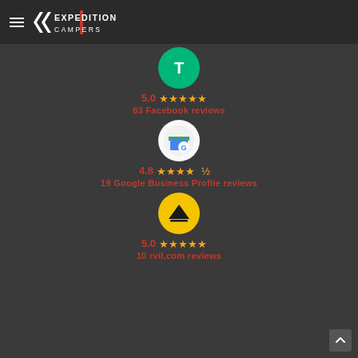Expedition Campers
[Figure (infographic): Trustpilot logo icon - white T on green circle]
5.0 ★★★★★ 83 Facebook reviews
[Figure (infographic): Google Business Profile icon - store front with G logo on white circle]
4.8 ★★★★½ 19 Google Business Profile reviews
[Figure (infographic): RVillage logo - tent/triangle icon on yellow circle]
5.0 ★★★★★ 10 rvil.com reviews